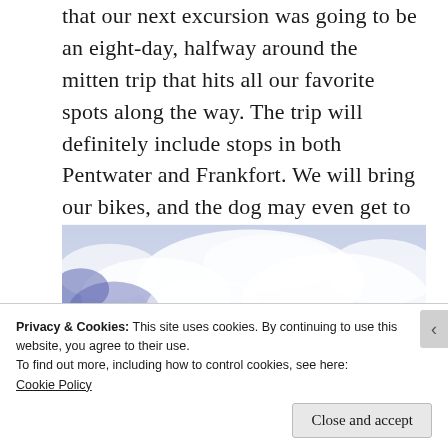that our next excursion was going to be an eight-day, halfway around the mitten trip that hits all our favorite spots along the way. The trip will definitely include stops in both Pentwater and Frankfort. We will bring our bikes, and the dog may even get to come along. Stay tuned!
[Figure (photo): A sky scene with blue and white clouds, slightly hazy and overcast]
Privacy & Cookies: This site uses cookies. By continuing to use this website, you agree to their use.
To find out more, including how to control cookies, see here: Cookie Policy